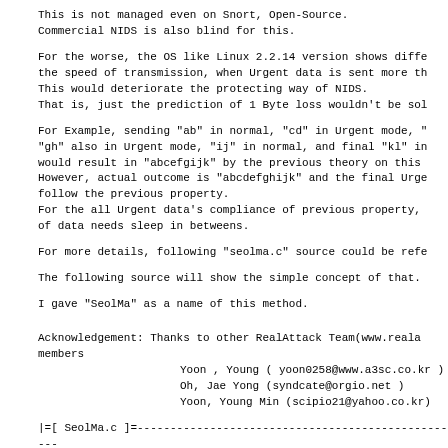This is not managed even on Snort,  Open-Source.
Commercial NIDS is also blind for this.
For the worse, the OS like Linux 2.2.14 version shows diffe
the speed of transmission, when Urgent data is sent more th
This would deteriorate the protecting way of NIDS.
That is, just the prediction of 1 Byte loss wouldn't be sol
For Example, sending "ab" in normal, "cd" in Urgent mode, "
"gh" also in Urgent mode, "ij" in normal, and final "kl" in
would result in "abcefgijk" by the previous theory on this
However, actual outcome is "abcdefghijk" and the final Urge
follow the previous property.
For the all Urgent data's compliance of previous property,
of data needs sleep in betweens.
For more details, following "seolma.c" source could be refe
The following source will show the simple concept of that.
I gave "SeolMa" as a name of this method.
Acknowledgement:  Thanks to other RealAttack Team(www.reala
members
                    Yoon , Young  ( yoon0258@www.a3sc.co.kr )
                    Oh, Jae Yong  (syndcate@orgio.net )
                    Yoon, Young Min (scipio21@yahoo.co.kr)
|=[ SeolMa.c ]=--------------------------------------------------
/*  This is a simple source code for just test.